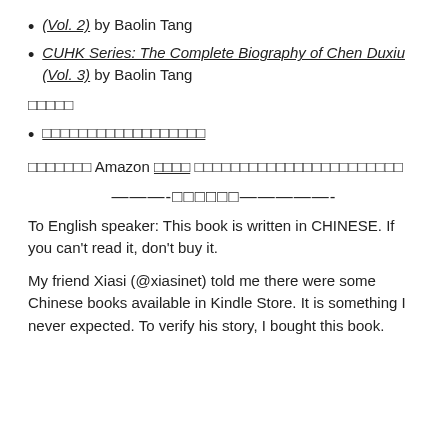(Vol. 2) by Baolin Tang
CUHK Series: The Complete Biography of Chen Duxiu (Vol. 3) by Baolin Tang
□□□□□
□□□□□□□□□□□□□□□□□□
□□□□□□□ Amazon □□□□ □□□□□□□□□□□□□□□□□□□□□□□
———-□□□□□□—————-
To English speaker: This book is written in CHINESE. If you can't read it, don't buy it.
My friend Xiasi (@xiasinet) told me there were some Chinese books available in Kindle Store. It is something I never expected. To verify his story, I bought this book.